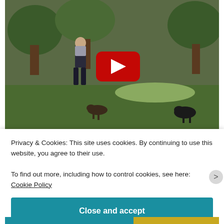[Figure (screenshot): YouTube video thumbnail showing a man in dark vest and trousers walking/running in a park setting with animals (dogs/sheep) in the background. A red YouTube play button is overlaid in the center.]
Privacy & Cookies: This site uses cookies. By continuing to use this website, you agree to their use.
To find out more, including how to control cookies, see here: Cookie Policy
Close and accept